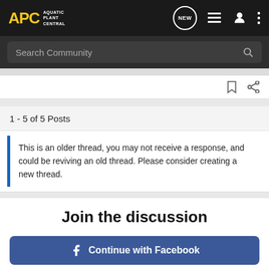APC AQUATIC PLANT CENTRAL - Navigation bar with NEW, list, user, menu icons
Search Community
1 - 5 of 5 Posts
This is an older thread, you may not receive a response, and could be reviving an old thread. Please consider creating a new thread.
Join the discussion
Continue with Facebook
Continue with Google